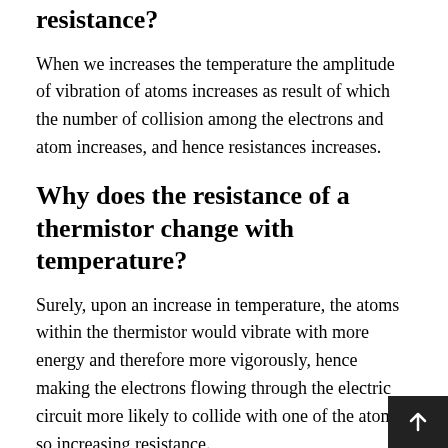resistance?
When we increases the temperature the amplitude of vibration of atoms increases as result of which the number of collision among the electrons and atom increases, and hence resistances increases.
Why does the resistance of a thermistor change with temperature?
Surely, upon an increase in temperature, the atoms within the thermistor would vibrate with more energy and therefore more vigorously, hence making the electrons flowing through the electric circuit more likely to collide with one of the atoms, so increasing resistance.
How does resistance depend on length?